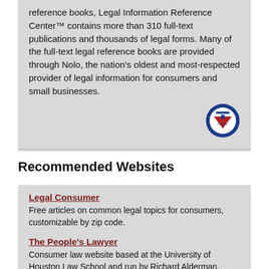reference books, Legal Information Reference Center™ contains more than 310 full-text publications and thousands of legal forms. Many of the full-text legal reference books are provided through Nolo, the nation's oldest and most-respected provider of legal information for consumers and small businesses.
[Figure (logo): Texshare Libraries circular logo badge in blue and red]
Recommended Websites
Legal Consumer — Free articles on common legal topics for consumers, customizable by zip code.
The People's Lawyer — Consumer law website based at the University of Houston Law School and run by Richard Alderman. Provides legal guides for legal issues.
Texas Attorney General Consumer Protection Division — Includes contact information for regional offices of the AG's